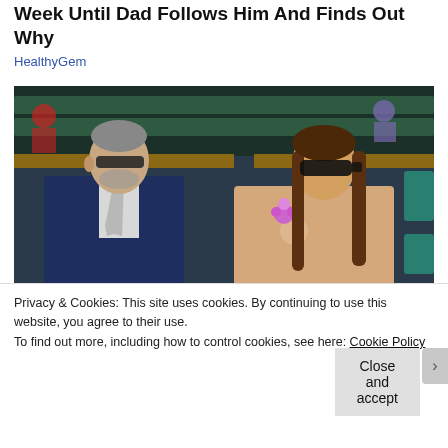Week Until Dad Follows Him And Finds Out Why
HealthyGem
[Figure (photo): Two people seated in stadium bleachers. On the left, an older man with grey hair wearing a navy suit and light tie, with sunglasses. On the right, a young woman with long brown hair wearing sunglasses and a floral outfit with a purple flower.]
Privacy & Cookies: This site uses cookies. By continuing to use this website, you agree to their use.
To find out more, including how to control cookies, see here: Cookie Policy
Close and accept